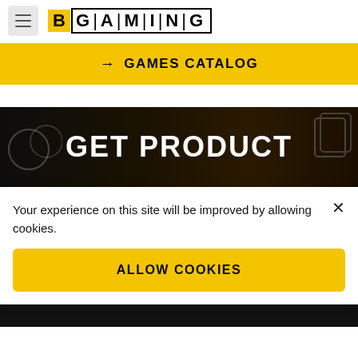[Figure (logo): BGaming logo with B in yellow square and GAMING text with vertical separators]
→ GAMES CATALOG
[Figure (screenshot): Dark background section showing GET PRODUCT text in white on dark/black background with decorative circles and playing card elements]
Your experience on this site will be improved by allowing cookies.
ALLOW COOKIES